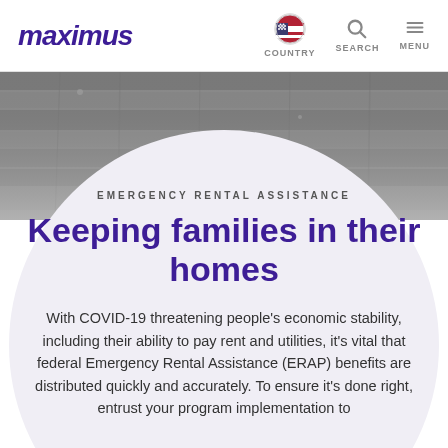maximus | COUNTRY | SEARCH | MENU
[Figure (photo): Gray textured background photo resembling dark wooden planks or concrete wall, used as hero banner background]
EMERGENCY RENTAL ASSISTANCE
Keeping families in their homes
With COVID-19 threatening people's economic stability, including their ability to pay rent and utilities, it's vital that federal Emergency Rental Assistance (ERAP) benefits are distributed quickly and accurately. To ensure it's done right, entrust your program implementation to